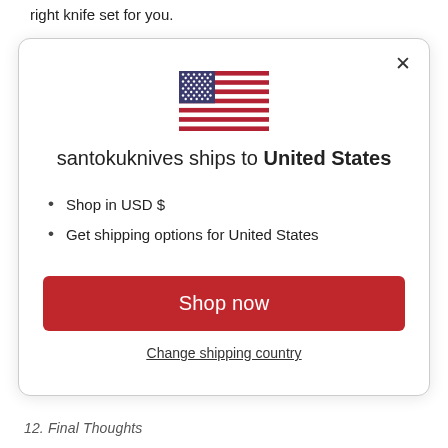right knife set for you.
[Figure (illustration): US flag emoji/icon]
santokuknives ships to United States
Shop in USD $
Get shipping options for United States
Shop now
Change shipping country
12. Final Thoughts